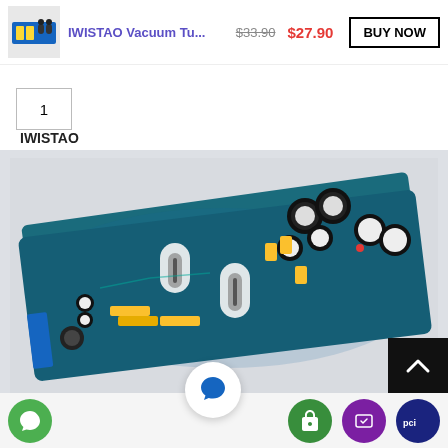[Figure (screenshot): E-commerce product listing page showing IWISTAO Vacuum Tube preamplifier board. Top bar has product thumbnail, title 'IWISTAO Vacuum Tu...', price crossed out $33.90 and new price $27.90, BUY NOW button. Below is quantity field showing 1, brand name IWISTAO, and main product photo of a blue PCB vacuum tube amplifier board with capacitors and tubes. Bottom has scroll-to-top button and shopping icons.]